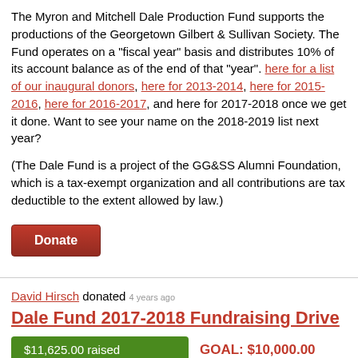The Myron and Mitchell Dale Production Fund supports the productions of the Georgetown Gilbert & Sullivan Society. The Fund operates on a "fiscal year" basis and distributes 10% of its account balance as of the end of that "year". Click here for a list of our inaugural donors, here for 2013-2014, here for 2015-2016, here for 2016-2017, and here for 2017-2018 once we get it done. Want to see your name on the 2018-2019 list next year?
(The Dale Fund is a project of the GG&SS Alumni Foundation, which is a tax-exempt organization and all contributions are tax deductible to the extent allowed by law.)
[Figure (other): Donate button — red rounded rectangle with white bold text 'Donate']
David Hirsch donated 4 years ago
Dale Fund 2017-2018 Fundraising Dr...
$11,625.00 raised   GOAL: $10,000.00